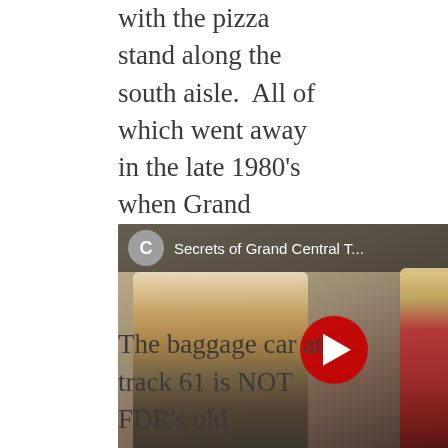with the pizza stand along the south aisle.  All of which went away in the late 1980's when Grand Central started to get fancified.  This piece is rather enthusiastic and exaggerates more or less some of the strange things that exist in GCT.
[Figure (screenshot): YouTube video thumbnail: 'Secrets of Grand Central T...' showing two people conversing in Grand Central Terminal. A man in a white shirt and tie on the left, and a blonde woman in red on the right. Red play button in the center.]
The baggage car at track 61 is NOT FDR's old